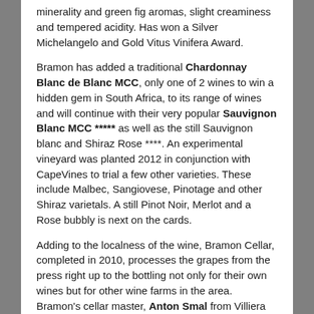minerality and green fig aromas, slight creaminess and tempered acidity. Has won a Silver Michelangelo and Gold Vitus Vinifera Award.
Bramon has added a traditional Chardonnay Blanc de Blanc MCC, only one of 2 wines to win a hidden gem in South Africa, to its range of wines and will continue with their very popular Sauvignon Blanc MCC ***** as well as the still Sauvignon blanc and Shiraz Rose ****. An experimental vineyard was planted 2012 in conjunction with CapeVines to trial a few other varieties. These include Malbec, Sangiovese, Pinotage and other Shiraz varietals. A still Pinot Noir, Merlot and a Rose bubbly is next on the cards.
Adding to the localness of the wine, Bramon Cellar, completed in 2010, processes the grapes from the press right up to the bottling not only for their own wines but for other wine farms in the area. Bramon's cellar master, Anton Smal from Villiera acclaim, is very excited by the diversity of flavours attributed to terroir, climate and good old fashioned care. The area has been compared favourably with New Zealand, not only for its climatic and geographic characteristics, but for the